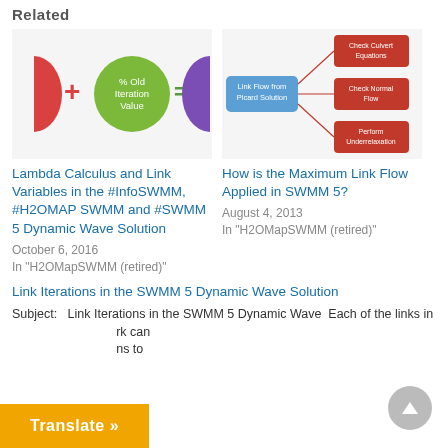Related
[Figure (infographic): Diagram showing formula with colored circles and plus/equals signs: a red half-circle, a red plus sign, a green circle labeled '% Old Iteration Value', an equals sign, and a purple half-circle]
Lambda Calculus and Link Variables in the #InfoSWMM, #H2OMAP SWMM and #SWMM 5 Dynamic Wave Solution
October 6, 2016
In "H2OMapSWMM (retired)"
[Figure (flowchart): Flowchart showing 'Link Flow from Picard Solution' box connecting to three boxes: 'Check Culvert Equations', 'Check Normal Flow', and 'Perform Underrelaxation']
How is the Maximum Link Flow Applied in SWMM 5?
August 4, 2013
In "H2OMapSWMM (retired)"
Link Iterations in the SWMM 5 Dynamic Wave Solution
Subject:   Link Iterations in the SWMM 5 Dynamic Wave  Each of the links in
rk can
ns to